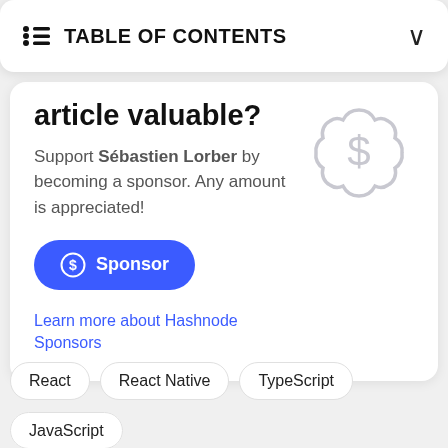TABLE OF CONTENTS
article valuable?
Support Sébastien Lorber by becoming a sponsor. Any amount is appreciated!
[Figure (illustration): Dollar sign inside a cloud/badge icon, light gray outline style]
Sponsor
Learn more about Hashnode Sponsors
React
React Native
TypeScript
JavaScript